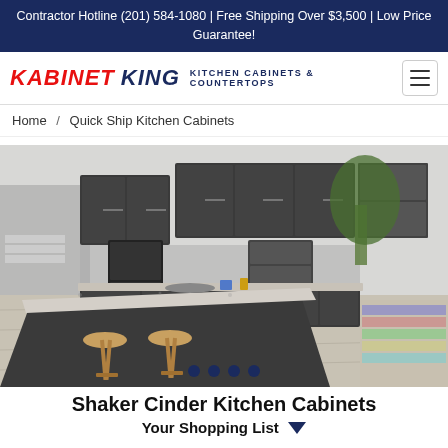Contractor Hotline (201) 584-1080 | Free Shipping Over $3,500 | Low Price Guarantee!
[Figure (logo): Kabinet King logo — KABINET KING in red/navy italic bold text, with subtitle KITCHEN CABINETS & COUNTERTOPS, and hamburger menu icon on the right]
Home / Quick Ship Kitchen Cabinets
[Figure (photo): Interior photo of a modern kitchen with dark charcoal shaker-style cabinets, granite island countertops, stainless appliances, two wooden bar stools, and an open floor plan. Four navigation dots at the bottom.]
Shaker Cinder Kitchen Cabinets
Your Shopping List ▼